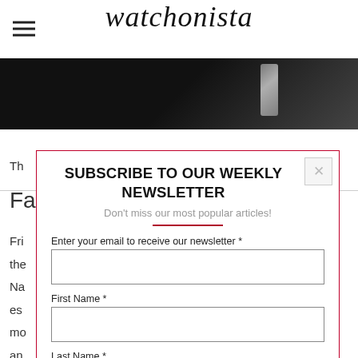watchonista
[Figure (photo): Close-up black and white photo of a watch]
The
Fa
Fri the Na es mo an
SUBSCRIBE TO OUR WEEKLY NEWSLETTER
Don't miss our most popular articles!
Enter your email to receive our newsletter *
First Name *
Last Name *
SIGN UP